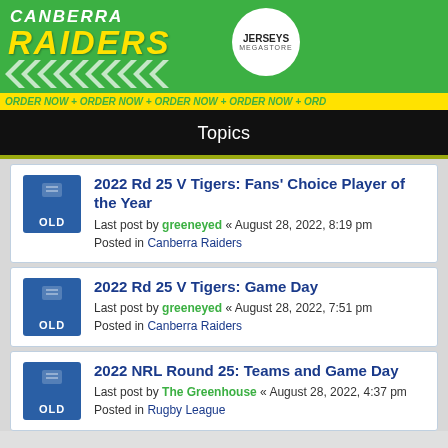[Figure (illustration): Canberra Raiders advertisement banner with green background, team name in yellow, jerseys megastore logo, sports apparel images, and ORDER NOW text at bottom]
Topics
2022 Rd 25 V Tigers: Fans' Choice Player of the Year
Last post by greeneyed « August 28, 2022, 8:19 pm
Posted in Canberra Raiders
2022 Rd 25 V Tigers: Game Day
Last post by greeneyed « August 28, 2022, 7:51 pm
Posted in Canberra Raiders
2022 NRL Round 25: Teams and Game Day
Last post by The Greenhouse « August 28, 2022, 4:37 pm
Posted in Rugby League